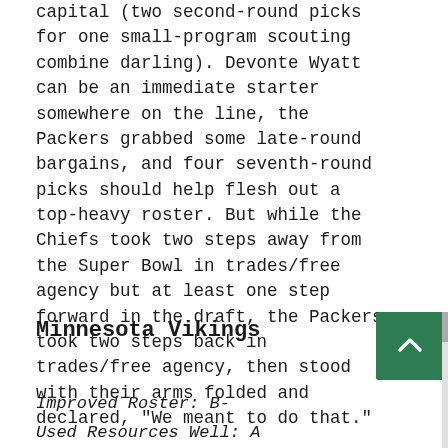capital (two second-round picks for one small-program scouting combine darling). Devonte Wyatt can be an immediate starter somewhere on the line, the Packers grabbed some late-round bargains, and four seventh-round picks should help flesh out a top-heavy roster. But while the Chiefs took two steps away from the Super Bowl in trades/free agency but at least one step forward in the draft, the Packers took two steps back in trades/free agency, then stood with their arms folded and declared, "We meant to do that."

Wow. I am ripping the NFC North teams. The best draft grade in the division cannot possibly go to...
Minnesota Vikings
Improved Roster: B-
Used Resources Well: A
Met Needs: B-